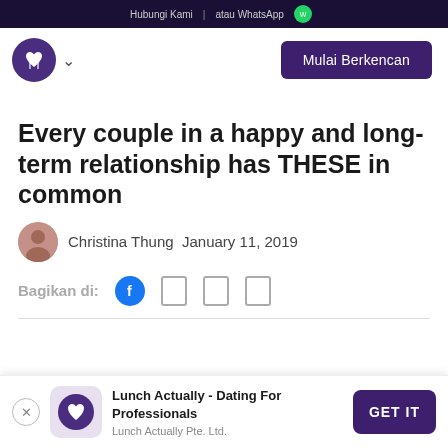Hubungi Kami  atau WhatsApp
[Figure (logo): Dating app logo - purple circle with fork and heart icon, with dropdown chevron]
Mulai Berkencan
Every couple in a happy and long-term relationship has THESE in common
Christina Thung  January 11, 2019
Bagikan di:
[Figure (screenshot): Social share icons: Facebook, and three other share icons]
Lunch Actually - Dating For Professionals
Lunch Actually Pte. Ltd.
GET IT